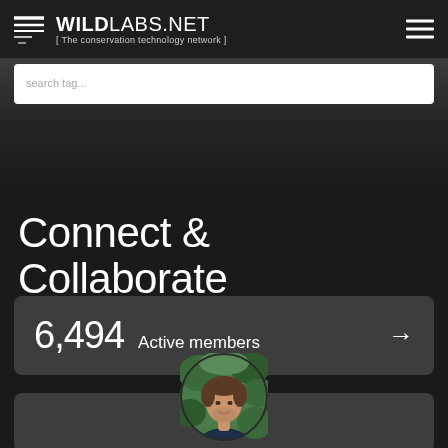WILDLABS.NET [ The conservation technology network ]
6,494 Active members
Connect & Collaborate
[Figure (photo): Circular profile photo of a man with brown hair wearing a dark blue shirt, with green foliage in the background]